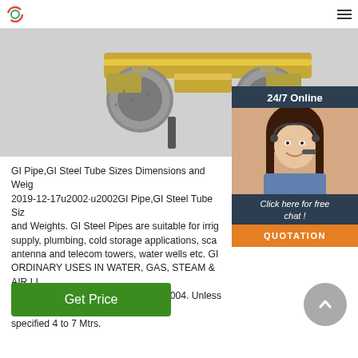[Figure (photo): GI steel pipe fittings — galvanized metal connectors with brass colored central tube section]
[Figure (other): 24/7 Online chat widget with female customer service agent wearing headset. Includes 'Click here for free chat!' text and orange QUOTATION button.]
GI Pipe,GI Steel Tube Sizes Dimensions and Weights. 2019-12-17u2002·u2002GI Pipe,GI Steel Tube Sizes and Weights. GI Steel Pipes are suitable for irrigation supply, plumbing, cold storage applications, scaffolding, antenna and telecom towers, water wells etc. GI PIPES FOR ORDINARY USES IN WATER, GAS, STEAM & AIR LINES CONFIRMING TO IS:1239 (Part-1) 2004. Unless otherwise specified 4 to 7 Mtrs.
Get Price